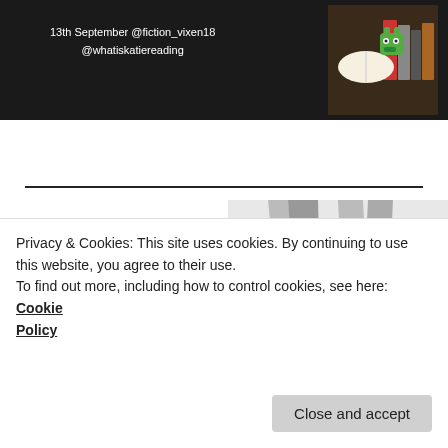[Figure (screenshot): Dark banner with text '13th September @fiction_vixen18 @whatiskatiereading' and a book cover image with green monster on the right]
[Figure (infographic): Love Books Audio Tour banner with red title text, social handles, website URL, and black-and-white photo of crossed legs on the right]
Twitter:
@emiliaares

Instagram:
@emiliaares
@loveandothersins

WWW.LOVEBOOKSTOURS.COM
5TH SEPTEMBER   @STRATOSPHEREKAWAIIGIRL
@MYBOOKYJOURNEY_CMBSCFC
@PARIS_SHELVES
Privacy & Cookies: This site uses cookies. By continuing to use this website, you agree to their use.
To find out more, including how to control cookies, see here: Cookie Policy
14TH SEPTEMBER   @HELENAРЕADSXX